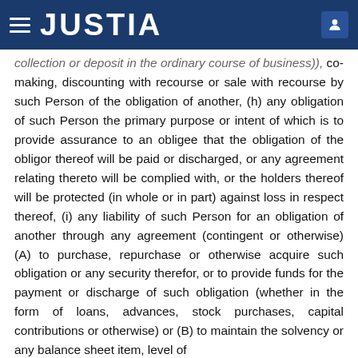JUSTIA
collection or deposit in the ordinary course of business)), co-making, discounting with recourse or sale with recourse by such Person of the obligation of another, (h) any obligation of such Person the primary purpose or intent of which is to provide assurance to an obligee that the obligation of the obligor thereof will be paid or discharged, or any agreement relating thereto will be complied with, or the holders thereof will be protected (in whole or in part) against loss in respect thereof, (i) any liability of such Person for an obligation of another through any agreement (contingent or otherwise) (A) to purchase, repurchase or otherwise acquire such obligation or any security therefor, or to provide funds for the payment or discharge of such obligation (whether in the form of loans, advances, stock purchases, capital contributions or otherwise) or (B) to maintain the solvency or any balance sheet item, level of